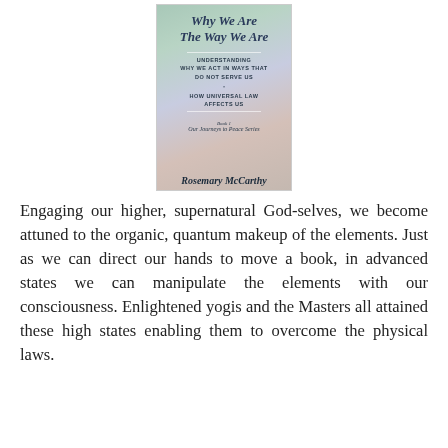[Figure (illustration): Book cover of 'Why We Are The Way We Are' by Rosemary McCarthy. Subtitle text: 'Understanding why we act in ways that do not serve us & How Universal Law Affects Us'. Part of 'Our Journeys to Peace Series'. Background is a soft gradient of teal, lavender, and warm tones.]
Engaging our higher, supernatural God-selves, we become attuned to the organic, quantum makeup of the elements. Just as we can direct our hands to move a book, in advanced states we can manipulate the elements with our consciousness. Enlightened yogis and the Masters all attained these high states enabling them to overcome the physical laws.